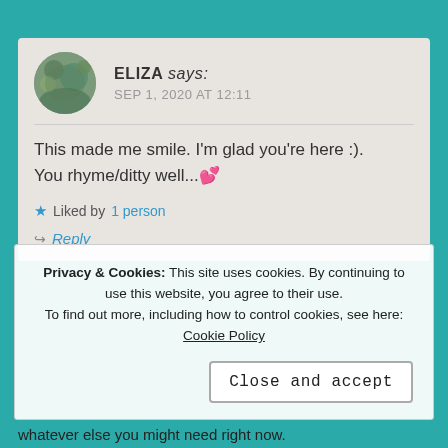ELIZA says: SEP 1, 2020 AT 12:11
This made me smile. I'm glad you're here :).
You rhyme/ditty well...💕
★ Liked by 1 person
Reply
Privacy & Cookies: This site uses cookies. By continuing to use this website, you agree to their use. To find out more, including how to control cookies, see here: Cookie Policy
Close and accept
whatever else you might need right now.